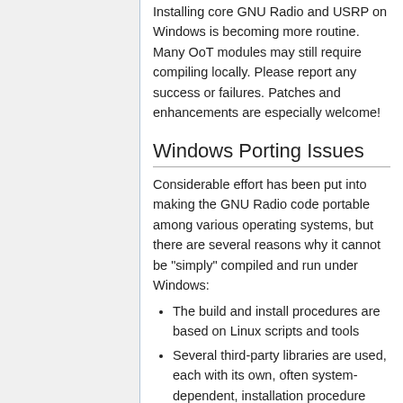Installing core GNU Radio and USRP on Windows is becoming more routine. Many OoT modules may still require compiling locally. Please report any success or failures. Patches and enhancements are especially welcome!
Windows Porting Issues
Considerable effort has been put into making the GNU Radio code portable among various operating systems, but there are several reasons why it cannot be "simply" compiled and run under Windows:
The build and install procedures are based on Linux scripts and tools
Several third-party libraries are used, each with its own, often system-dependent, installation procedure
Most GNU Radio applications...